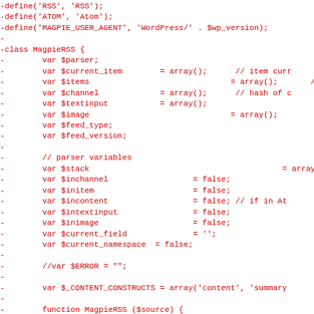[Figure (screenshot): Code diff showing PHP class MagpieRSS with red deleted lines. Shows define statements for RSS, ATOM, MAGPIE_USER_AGENT, and class MagpieRSS with var declarations for $parser, $current_item, $items, $channel, $textinput, $image, $feed_type, $feed_version, parser variables $stack, $inchannel, $initem, $incontent, $intextinput, $inimage, $current_field, $current_namespace, commented out $ERROR, $_CONTENT_CONSTRUCTS array, function MagpieRSS ($source), and a comment about PHP xml compilation.]